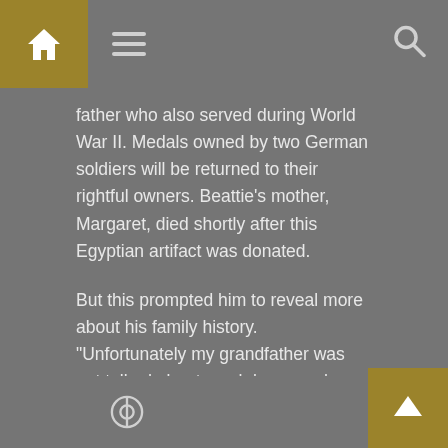Navigation bar with home, hamburger menu, and search icons
father who also served during World War II. Medals owned by two German soldiers will be returned to their rightful owners. Beattie's mother, Margaret, died shortly after this Egyptian artifact was donated.
But this prompted him to reveal more about his family history. "Unfortunately my grandfather was not talked about much because he died when my father was five or six years old due to influenza," Beattie said. “So we did not know much about the extraordinary man, and now we find how very attractive he is. This means we are very much,” he concluded
Creative Commons icon and back-to-top button